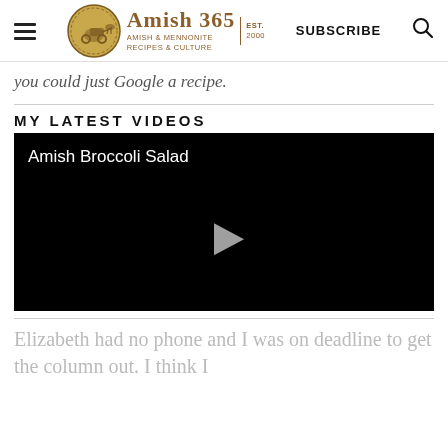Amish 365 — AMISH & MENNONITE RECIPES & CULTURE | EST. 2000 | SUBSCRIBE
you could just Google a recipe.
MY LATEST VIDEOS
[Figure (screenshot): Video player showing 'Amish Broccoli Salad' with black background and a play button triangle in the center]
Elizabeth had no phone and I was on deadline to get the column out. I think I